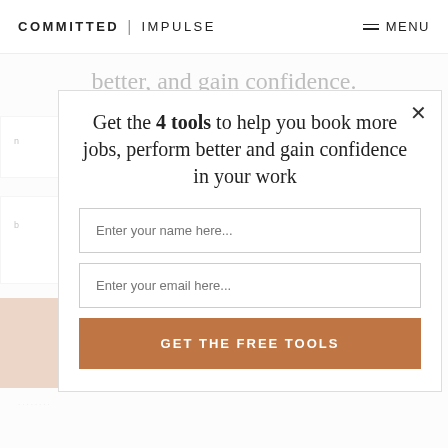COMMITTED | IMPULSE   MENU
better, and gain confidence.
[Figure (screenshot): Modal popup dialog with form to get 4 free tools]
Get the 4 tools to help you book more jobs, perform better and gain confidence in your work
Enter your name here...
Enter your email here...
GET THE FREE TOOLS